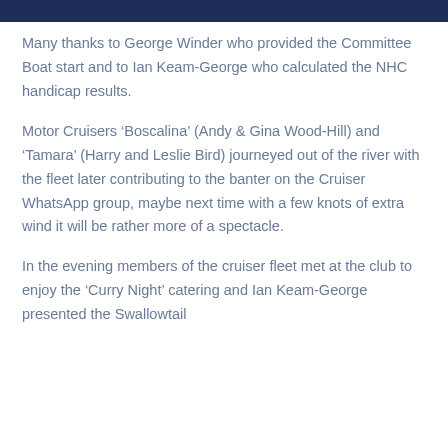Many thanks to George Winder who provided the Committee Boat start and to Ian Keam-George who calculated the NHC handicap results.
Motor Cruisers ‘Boscalina’ (Andy & Gina Wood-Hill) and ‘Tamara’ (Harry and Leslie Bird) journeyed out of the river with the fleet later contributing to the banter on the Cruiser WhatsApp group, maybe next time with a few knots of extra wind it will be rather more of a spectacle.
In the evening members of the cruiser fleet met at the club to enjoy the ‘Curry Night’ catering and Ian Keam-George presented the Swallowtail